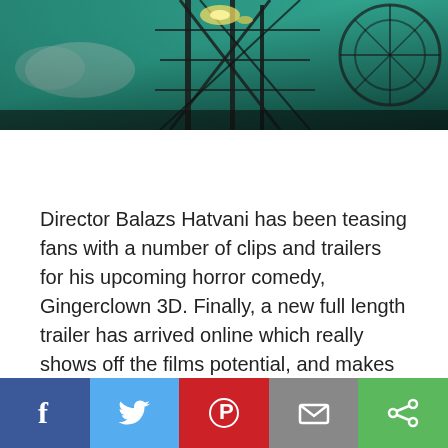[Figure (photo): Dark atmospheric image of a roller coaster or amusement ride structure with teal/green tinted sky and dramatic lighting]
Director Balazs Hatvani has been teasing fans with a number of clips and trailers for his upcoming horror comedy, Gingerclown 3D. Finally, a new full length trailer has arrived online which really shows off the films potential, and makes good on its promise to give homage to 80's horrors. Wanna nostalgic trip back to that decade of good stuff, then check out the new trailer below.
[Figure (infographic): Social sharing bar with Facebook, Twitter, Pinterest, Email, and Share buttons]